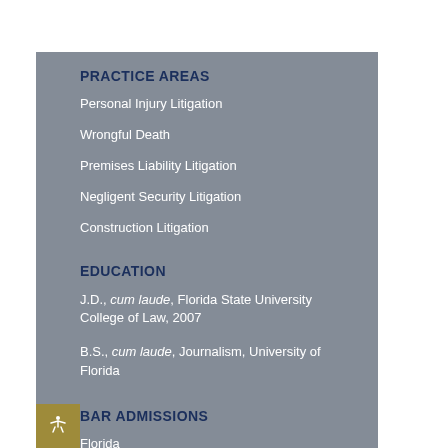PRACTICE AREAS
Personal Injury Litigation
Wrongful Death
Premises Liability Litigation
Negligent Security Litigation
Construction Litigation
EDUCATION
J.D., cum laude, Florida State University College of Law, 2007
B.S., cum laude, Journalism, University of Florida
BAR ADMISSIONS
Florida
COURT ADMISSIONS